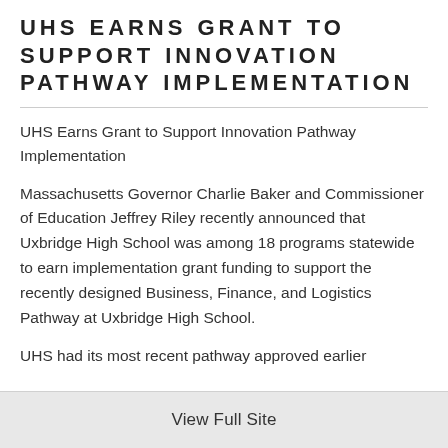UHS EARNS GRANT TO SUPPORT INNOVATION PATHWAY IMPLEMENTATION
UHS Earns Grant to Support Innovation Pathway Implementation
Massachusetts Governor Charlie Baker and Commissioner of Education Jeffrey Riley recently announced that Uxbridge High School was among 18 programs statewide to earn implementation grant funding to support the recently designed Business, Finance, and Logistics Pathway at Uxbridge High School.
UHS had its most recent pathway approved earlier
View Full Site